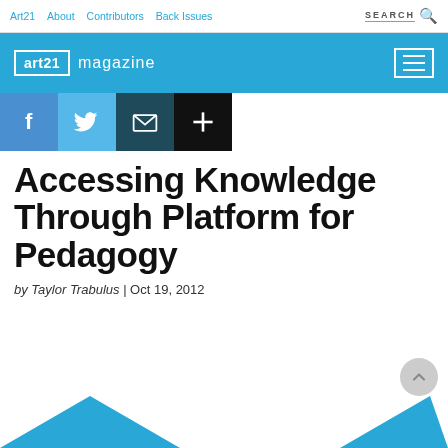Art21  About  Contributors  Back Issues  SEARCH
[Figure (logo): art21 magazine logo on blue header bar with hamburger menu icon]
[Figure (infographic): Social share buttons: Facebook (f), Twitter (bird), Email (envelope), More (+) on colored square backgrounds]
Accessing Knowledge Through Platform for Pedagogy
by Taylor Trabulus | Oct 19, 2012